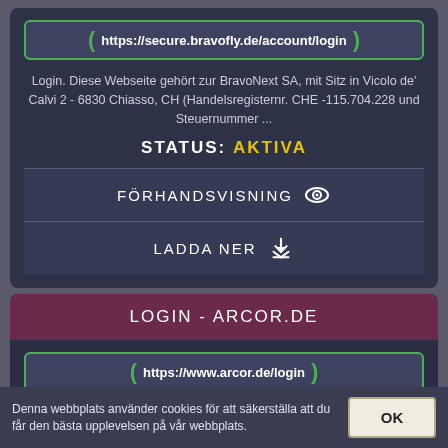https://secure.bravofly.de/account/login
Login. Diese Webseite gehört zur BravoNext SA, mit Sitz in Vicolo de' Calvi 2 - 6830 Chiasso, CH (Handelsregisternr. CHE -115.704.228 und Steuernummer ...
STATUS: AKTIVA
FÖRHANDSVISNING
LADDA NER
LOGIN - ARCOR.DE
https://www.arcor.de/login
Aus Sicherheitsgründen wird der Login-Prozess nach 3 Fehlversuchen für mindestens 30 Sek. gesperrt. Vielen Dank! Ihr Vodafone-Team.
Denna webbplats använder cookies för att säkerställa att du får den bästa upplevelsen på vår webbplats.